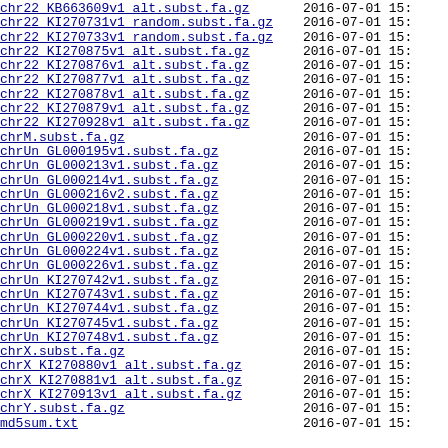chr22_KB663609v1_alt.subst.fa.gz  2016-07-01 15:
chr22_KI270731v1_random.subst.fa.gz  2016-07-01 15:
chr22_KI270733v1_random.subst.fa.gz  2016-07-01 15:
chr22_KI270875v1_alt.subst.fa.gz  2016-07-01 15:
chr22_KI270876v1_alt.subst.fa.gz  2016-07-01 15:
chr22_KI270877v1_alt.subst.fa.gz  2016-07-01 15:
chr22_KI270878v1_alt.subst.fa.gz  2016-07-01 15:
chr22_KI270879v1_alt.subst.fa.gz  2016-07-01 15:
chr22_KI270928v1_alt.subst.fa.gz  2016-07-01 15:
chrM.subst.fa.gz  2016-07-01 15:
chrUn_GL000195v1.subst.fa.gz  2016-07-01 15:
chrUn_GL000213v1.subst.fa.gz  2016-07-01 15:
chrUn_GL000214v1.subst.fa.gz  2016-07-01 15:
chrUn_GL000216v2.subst.fa.gz  2016-07-01 15:
chrUn_GL000218v1.subst.fa.gz  2016-07-01 15:
chrUn_GL000219v1.subst.fa.gz  2016-07-01 15:
chrUn_GL000220v1.subst.fa.gz  2016-07-01 15:
chrUn_GL000224v1.subst.fa.gz  2016-07-01 15:
chrUn_GL000226v1.subst.fa.gz  2016-07-01 15:
chrUn_KI270742v1.subst.fa.gz  2016-07-01 15:
chrUn_KI270743v1.subst.fa.gz  2016-07-01 15:
chrUn_KI270744v1.subst.fa.gz  2016-07-01 15:
chrUn_KI270745v1.subst.fa.gz  2016-07-01 15:
chrUn_KI270748v1.subst.fa.gz  2016-07-01 15:
chrX.subst.fa.gz  2016-07-01 15:
chrX_KI270880v1_alt.subst.fa.gz  2016-07-01 15:
chrX_KI270881v1_alt.subst.fa.gz  2016-07-01 15:
chrX_KI270913v1_alt.subst.fa.gz  2016-07-01 15:
chrY.subst.fa.gz  2016-07-01 15:
md5sum.txt  2016-07-01 15: